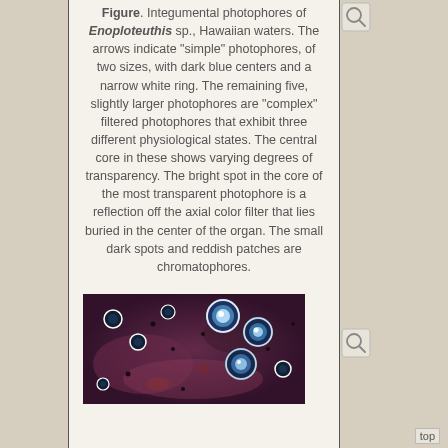Figure. Integumental photophores of Enoploteuthis sp., Hawaiian waters. The arrows indicate "simple" photophores, of two sizes, with dark blue centers and a narrow white ring. The remaining five, slightly larger photophores are "complex" filtered photophores that exhibit three different physiological states. The central core in these shows varying degrees of transparency. The bright spot in the core of the most transparent photophore is a reflection off the axial color filter that lies buried in the center of the organ. The small dark spots and reddish patches are chromatophores.
[Figure (photo): Microscopic photograph of integumental photophores of Enoploteuthis sp. from Hawaiian waters, showing blue and white photophores of varying sizes and states of transparency against a reddish-purple tissue background with dark chromatophore spots.]